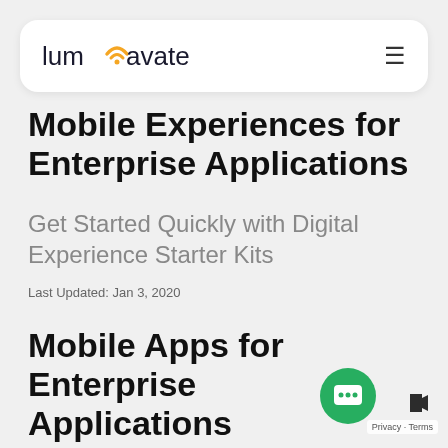[Figure (logo): Lumavate logo with orange wifi/signal arc above the letter 'a', followed by navigation hamburger menu icon on the right, in a white rounded rectangle nav bar]
Mobile Experiences for Enterprise Applications
Get Started Quickly with Digital Experience Starter Kits
Last Updated: Jan 3, 2020
Mobile Apps for Enterprise Applications